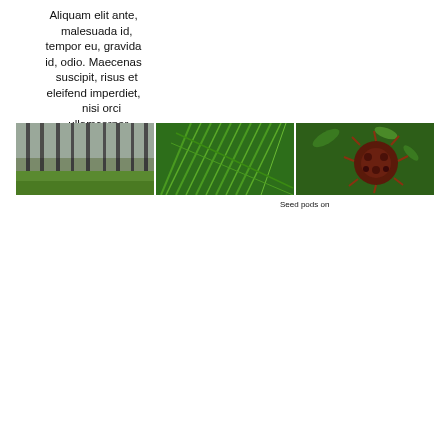Aliquam elit ante, malesuada id, tempor eu, gravida id, odio. Maecenas suscipit, risus et eleifend imperdiet, nisi orci ullamcorper massa, et adipiscing orci velit quis magna.
[Figure (photo): Three nature photos side by side: left shows a pine forest with tall bare trees and green grass floor; center shows close-up of green feathery plant foliage; right shows dark reddish-brown spiky seed pods on a green background.]
Seed pods on